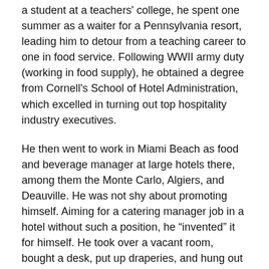a student at a teachers' college, he spent one summer as a waiter for a Pennsylvania resort, leading him to detour from a teaching career to one in food service. Following WWII army duty (working in food supply), he obtained a degree from Cornell's School of Hotel Administration, which excelled in turning out top hospitality industry executives.
He then went to work in Miami Beach as food and beverage manager at large hotels there, among them the Monte Carlo, Algiers, and Deauville. He was not shy about promoting himself. Aiming for a catering manager job in a hotel without such a position, he “invented” it for himself. He took over a vacant room, bought a desk, put up draperies, and hung out a “Catering Manager” sign. When challenged by his boss, he successfully convinced him